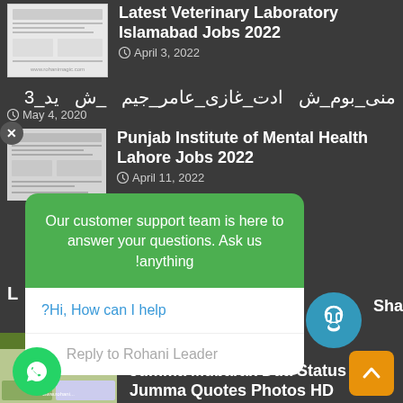Latest Veterinary Laboratory Islamabad Jobs 2022
April 3, 2022
منی_بوم_ش ادت_غازی_عامر_جیم _ ش ید_3
May 4, 2020
Punjab Institute of Mental Health Lahore Jobs 2022
April 11, 2022
[Figure (screenshot): Chat popup with green header saying 'Our customer support team is here to answer your questions. Ask us anything!' and input area 'Hi, How can I help?' and reply field 'Reply to Rohani Leader']
Shadi Bandish Tor
2 hours ago
line | Free Center
1 day ago
Jumma Mubarak Dua Status | Jumma Quotes Photos HD